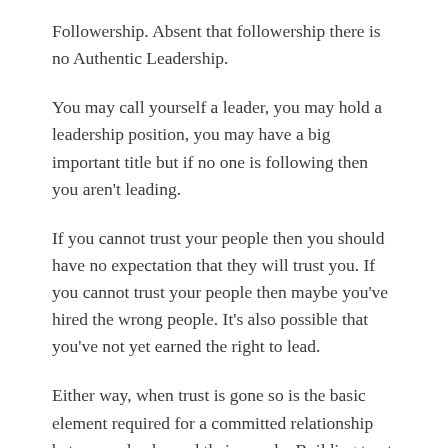Followership. Absent that followership there is no Authentic Leadership.
You may call yourself a leader, you may hold a leadership position, you may have a big important title but if no one is following then you aren't leading.
If you cannot trust your people then you should have no expectation that they will trust you. If you cannot trust your people then maybe you've hired the wrong people. It's also possible that you've not yet earned the right to lead.
Either way, when trust is gone so is the basic element required for a committed relationship between a leader and their people. Building trust requires effort. It requires time. It requires consistently doing what you say you will when you say you will do it.